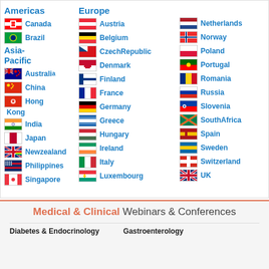Americas
Europe
Canada
Brazil
Asia-Pacific
Australia
China
Hong Kong
India
Japan
New Zealand
Philippines
Singapore
Austria
Belgium
Czech Republic
Denmark
Finland
France
Germany
Greece
Hungary
Ireland
Italy
Luxembourg
Netherlands
Norway
Poland
Portugal
Romania
Russia
Slovenia
South Africa
Spain
Sweden
Switzerland
UK
Medical & Clinical Webinars & Conferences
Diabetes & Endocrinology
Gastroenterology